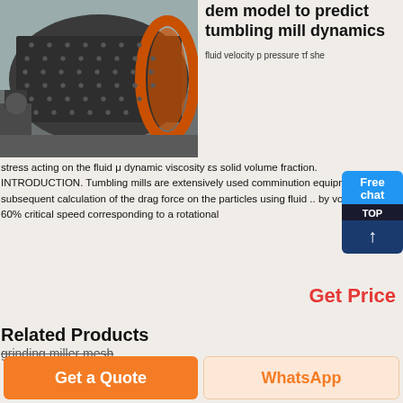[Figure (photo): Industrial ball mill / tumbling mill machine in a factory setting, large dark cylindrical drum with orange ring gear]
dem model to predict tumbling mill dynamics
fluid velocity p pressure τf she stress acting on the fluid μ dynamic viscosity εs solid volume fraction. INTRODUCTION. Tumbling mills are extensively used comminution equipment in subsequent calculation of the drag force on the particles using fluid .. by volume and 60% critical speed corresponding to a rotational
Get Price
Related Products
grinding miller mesh